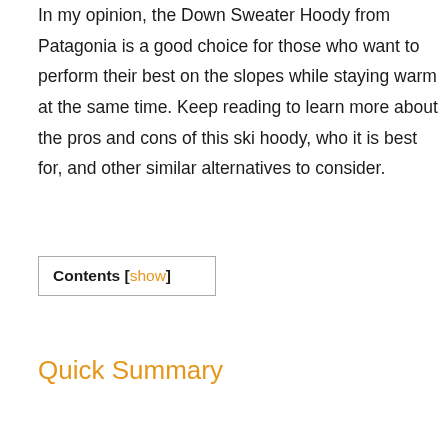In my opinion, the Down Sweater Hoody from Patagonia is a good choice for those who want to perform their best on the slopes while staying warm at the same time. Keep reading to learn more about the pros and cons of this ski hoody, who it is best for, and other similar alternatives to consider.
| Contents [show] |
Quick Summary